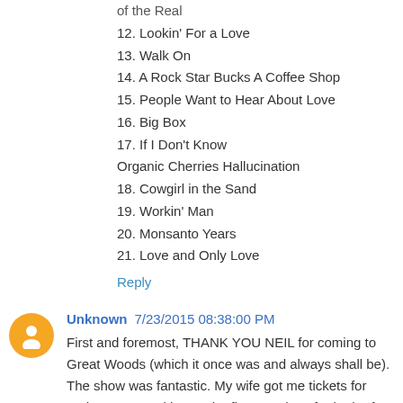of the Real
12. Lookin' For a Love
13. Walk On
14. A Rock Star Bucks A Coffee Shop
15. People Want to Hear About Love
16. Big Box
17. If I Don't Know
Organic Cherries Hallucination
18. Cowgirl in the Sand
19. Workin' Man
20. Monsanto Years
21. Love and Only Love
Reply
Unknown 7/23/2015 08:38:00 PM
First and foremost, THANK YOU NEIL for coming to Great Woods (which it once was and always shall be). The show was fantastic. My wife got me tickets for Fathers Day and it was the first NY show for both of us.
Yes, Neil referred to the venue's original name of Great